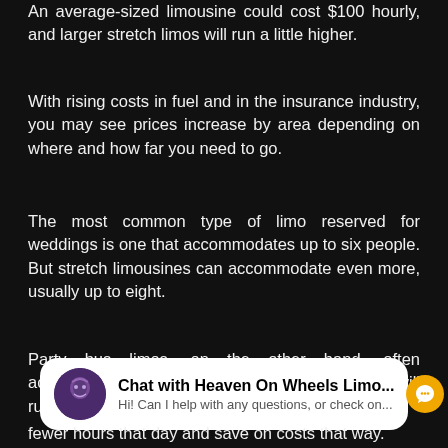An average-sized limousine could cost $100 hourly, and larger stretch limos will run a little higher.
With rising costs in fuel and in the insurance industry, you may see prices increase by area depending on where and how far you need to go.
The most common type of limo reserved for weddings is one that accommodates up to six people. But stretch limousines can accommodate even more, usually up to eight.
Party bus limos, on the other hand, often accommodate as many as 20 people or more and will run a little higher in costs as well.
[Figure (screenshot): Chat widget: Chat with Heaven On Wheels Limo... Hi! Can I help with any questions, or check on...]
fewer hours that day and save on costs that way.